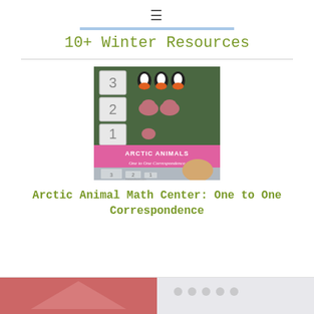≡
10+ Winter Resources
[Figure (photo): Arctic Animals One to One Correspondence math activity showing numbered cards with penguin and walrus stickers, and a child arranging animal figures on a mat]
Arctic Animal Math Center: One to One Correspondence
[Figure (photo): Two partial thumbnail images at the bottom of the page showing additional winter resources]